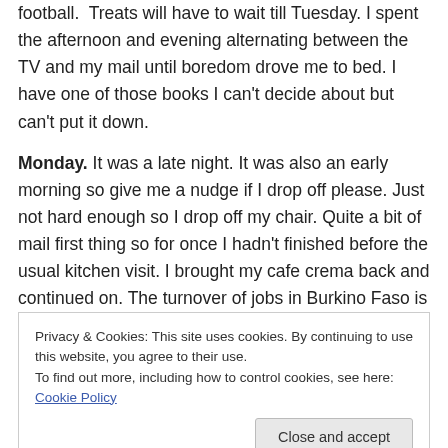football.  Treats will have to wait till Tuesday. I spent the afternoon and evening alternating between the TV and my mail until boredom drove me to bed. I have one of those books I can't decide about but can't put it down.
Monday. It was a late night. It was also an early morning so give me a nudge if I drop off please. Just not hard enough so I drop off my chair. Quite a bit of mail first thing so for once I hadn't finished before the usual kitchen visit. I brought my cafe crema back and continued on. The turnover of jobs in Burkino Faso is phenomenal, either that or the bank there has more than one (probably) financial [continues]
Privacy & Cookies: This site uses cookies. By continuing to use this website, you agree to their use.
To find out more, including how to control cookies, see here: Cookie Policy
for laying claim to the account and one wishes me to